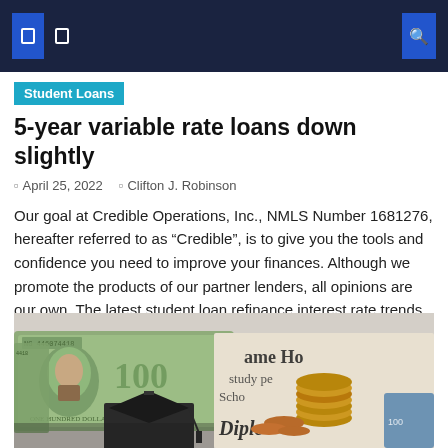Navigation bar with logo icons and search
Student Loans
5-year variable rate loans down slightly
April 25, 2022   Clifton J. Robinson
Our goal at Credible Operations, Inc., NMLS Number 1681276, hereafter referred to as “Credible”, is to give you the tools and confidence you need to improve your finances. Although we promote the products of our partner lenders, all opinions are our own. The latest student loan refinance interest rate trends on the Credible Marketplace, updated [...]
[Figure (photo): Photo of US $100 dollar bills, coins (pennies and other coins stacked), a graduation cap, and a diploma document with text 'ame Home', 'study per', 'Scho', 'Diplo' visible.]